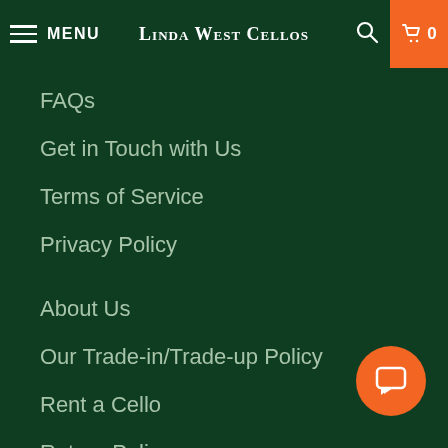MENU  Linda West Cellos  0
FAQs
Get in Touch with Us
Terms of Service
Privacy Policy
About Us
Our Trade-in/Trade-up Policy
Rent a Cello
Return Policy
123 W. Padre St
Santa Barbara, CA 93105
Our shop is in Suite 3, and our showroom is in Suite 1.